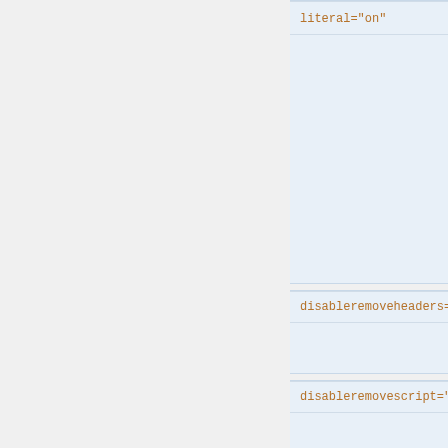literal="on"
disableremoveheaders="on"
disableremovescript="on"
disableremovebody="on"
disablecompresstags="on"
disablerewriteurls="on"
pattern="..."